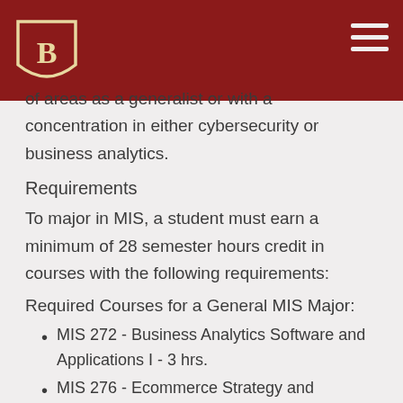Bradley University header with logo and navigation
…student can acquire competence in a number of areas as a generalist or with a concentration in either cybersecurity or business analytics.
Requirements
To major in MIS, a student must earn a minimum of 28 semester hours credit in courses with the following requirements:
Required Courses for a General MIS Major:
MIS 272 - Business Analytics Software and Applications I - 3 hrs.
MIS 276 - Ecommerce Strategy and Applications - 3 hrs
CS 101 - Introduction to Programming - 4 hrs